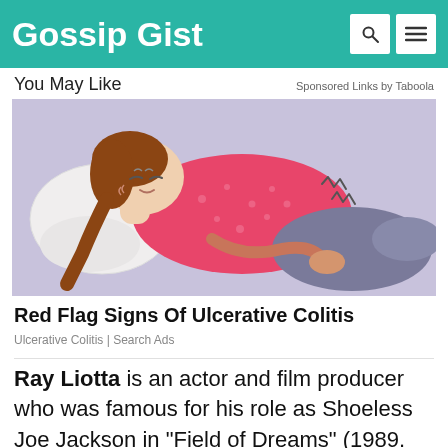Gossip Gist
You May Like   Sponsored Links by Taboola
[Figure (illustration): Cartoon illustration of a woman lying on her side on a pillow, wearing a pink polka-dot top, holding her stomach with a pained expression; zigzag lines near the stomach suggest pain.]
Red Flag Signs Of Ulcerative Colitis
Ulcerative Colitis | Search Ads
Ray Liotta is an actor and film producer who was famous for his role as Shoeless Joe Jackson in "Field of Dreams" (1989.